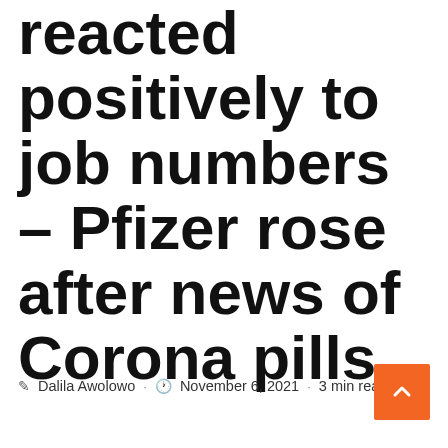reacted positively to job numbers – Pfizer rose after news of Corona pills
Dalila Awolowo · November 6, 2021 · 3 min read